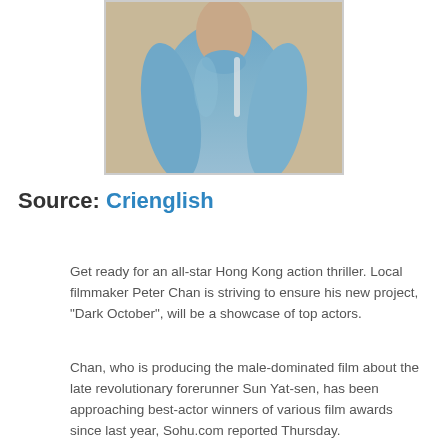[Figure (photo): Person wearing a blue long-sleeve shirt, photo cropped at torso level]
Source: Crienglish
Get ready for an all-star Hong Kong action thriller. Local filmmaker Peter Chan is striving to ensure his new project, "Dark October", will be a showcase of top actors.
Chan, who is producing the male-dominated film about the late revolutionary forerunner Sun Yat-sen, has been approaching best-actor winners of various film awards since last year, Sohu.com reported Thursday.